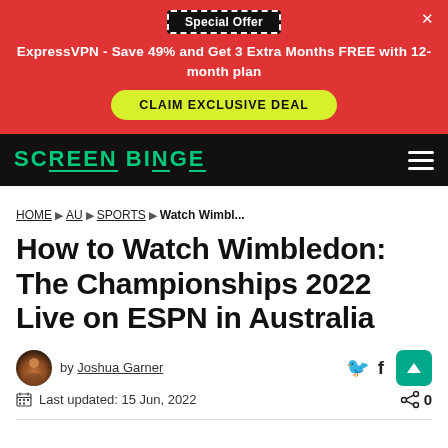[Figure (infographic): Red advertisement banner for ExpressVPN with 'Special Offer' badge, close X button, white bold text 'ExpressVPN - Save 49% and Get 3 Extra Months FREE with 12-month plan', and a yellow-green 'CLAIM EXCLUSIVE DEAL' button]
SCREEN BINGE (logo) with hamburger menu icon on black navigation bar
HOME ▶ AU ▶ SPORTS ▶ Watch Wimbl...
How to Watch Wimbledon: The Championships 2022 Live on ESPN in Australia
by Joshua Garner
Last updated: 15 Jun, 2022
0